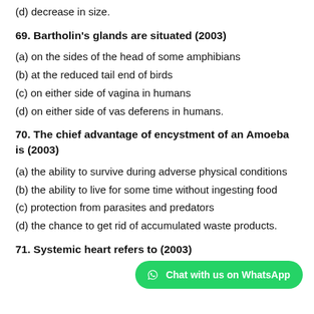(d) decrease in size.
69. Bartholin's glands are situated (2003)
(a) on the sides of the head of some amphibians
(b) at the reduced tail end of birds
(c) on either side of vagina in humans
(d) on either side of vas deferens in humans.
70. The chief advantage of encystment of an Amoeba is (2003)
(a) the ability to survive during adverse physical conditions
(b) the ability to live for some time without ingesting food
(c) protection from parasites and predators
(d) the chance to get rid of accumulated waste products.
71. Systemic heart refers to (2003)